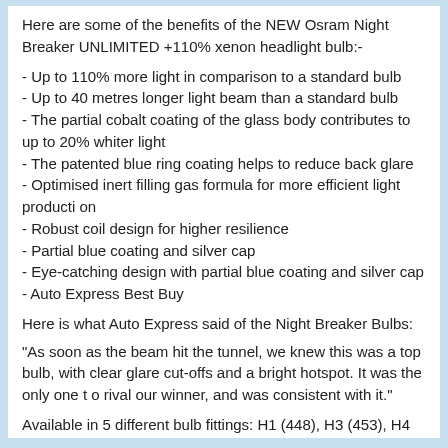Here are some of the benefits of the NEW Osram Night Breaker UNLIMITED +110% xenon headlight bulb:-
- Up to 110% more light in comparison to a standard bulb
- Up to 40 metres longer light beam than a standard bulb
- The partial cobalt coating of the glass body contributes to up to 20% whiter light
- The patented blue ring coating helps to reduce back glare
- Optimised inert filling gas formula for more efficient light production
- Robust coil design for higher resilience
- Partial blue coating and silver cap
- Eye-catching design with partial blue coating and silver cap
- Auto Express Best Buy
Here is what Auto Express said of the Night Breaker Bulbs:
"As soon as the beam hit the tunnel, we knew this was a top bulb, with clear glare cut-offs and a bright hotspot. It was the only one to rival our winner, and was consistent with it."
Available in 5 different bulb fittings: H1 (448), H3 (453), H4 (472), H7 (499), and H11.
Osram NightBreaker UNLIMITED +110% Xenon Headlamp bulbs are sold in a pack of 2.